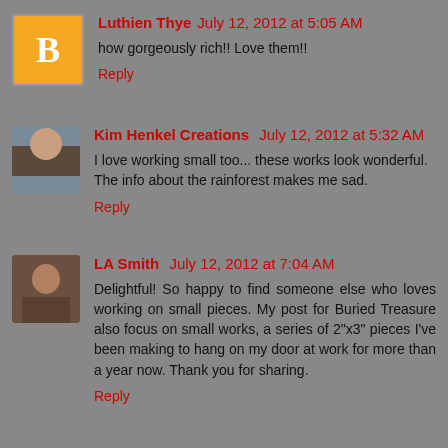Luthien Thye  July 12, 2012 at 5:05 AM
how gorgeously rich!! Love them!!
Reply
Kim Henkel Creations  July 12, 2012 at 5:32 AM
I love working small too... these works look wonderful. The info about the rainforest makes me sad.
Reply
LA Smith  July 12, 2012 at 7:04 AM
Delightful! So happy to find someone else who loves working on small pieces. My post for Buried Treasure also focus on small works, a series of 2"x3" pieces I've been making to hang on my door at work for more than a year now. Thank you for sharing.
Reply